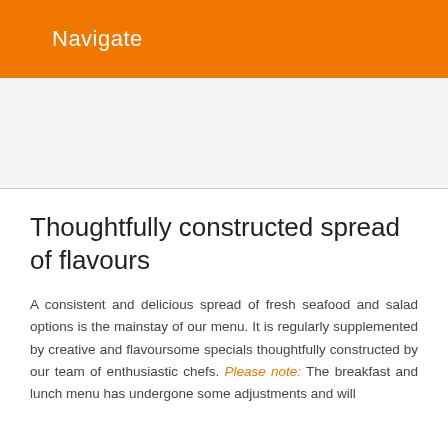Navigate
Thoughtfully constructed spread of flavours
A consistent and delicious spread of fresh seafood and salad options is the mainstay of our menu. It is regularly supplemented by creative and flavoursome specials thoughtfully constructed by our team of enthusiastic chefs. Please note: The breakfast and lunch menu has undergone some adjustments and will